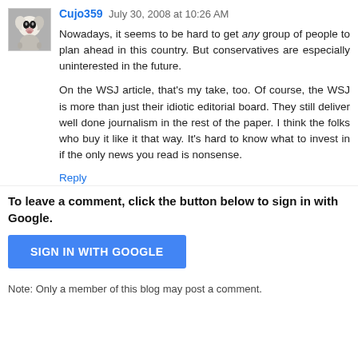Cujo359  July 30, 2008 at 10:26 AM
Nowadays, it seems to be hard to get any group of people to plan ahead in this country. But conservatives are especially uninterested in the future.

On the WSJ article, that's my take, too. Of course, the WSJ is more than just their idiotic editorial board. They still deliver well done journalism in the rest of the paper. I think the folks who buy it like it that way. It's hard to know what to invest in if the only news you read is nonsense.
Reply
To leave a comment, click the button below to sign in with Google.
[Figure (other): Blue button labeled SIGN IN WITH GOOGLE]
Note: Only a member of this blog may post a comment.